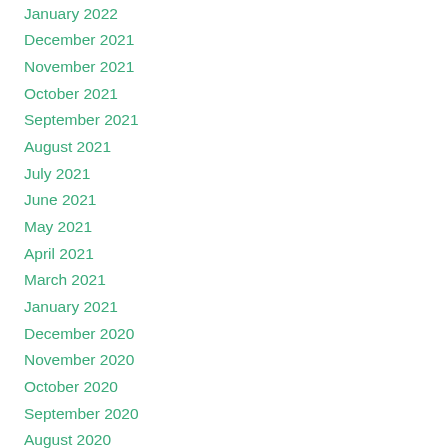January 2022
December 2021
November 2021
October 2021
September 2021
August 2021
July 2021
June 2021
May 2021
April 2021
March 2021
January 2021
December 2020
November 2020
October 2020
September 2020
August 2020
July 2020
June 2020
May 2020
April 2020
March 2020
February 2020
January 2020
December 2019
October 2019